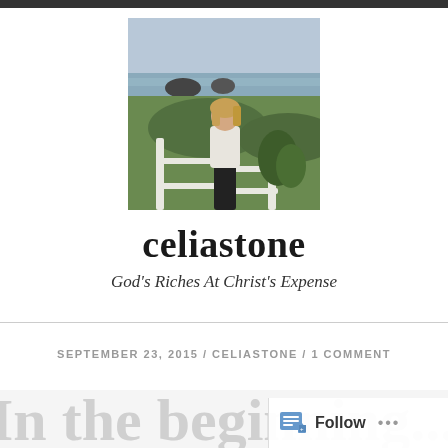[Figure (photo): Woman standing by a white fence with ocean and green hills in background]
celiastone
God's Riches At Christ's Expense
SEPTEMBER 23, 2015 / CELIASTONE / 1 COMMENT
In the beginning...